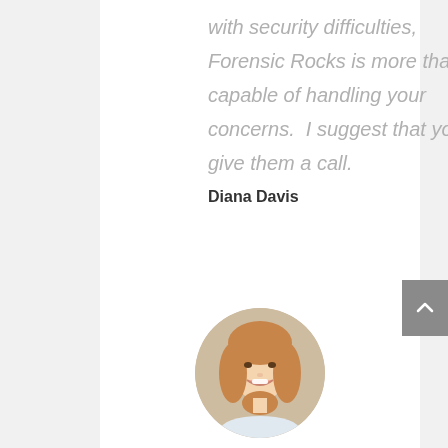with security difficulties, Forensic Rocks is more than capable of handling your concerns.  I suggest that you give them a call.
Diana Davis
[Figure (photo): Circular profile photo of a smiling blonde woman]